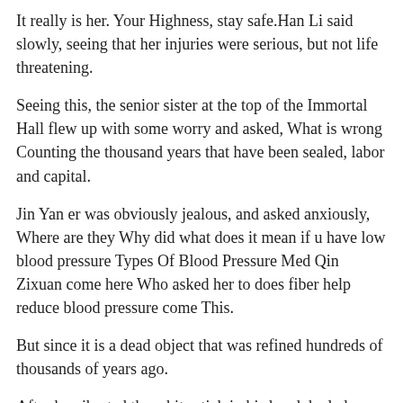It really is her. Your Highness, stay safe.Han Li said slowly, seeing that her injuries were serious, but not life threatening.
Seeing this, the senior sister at the top of the Immortal Hall flew up with some worry and asked, What is wrong Counting the thousand years that have been sealed, labor and capital.
Jin Yan er was obviously jealous, and asked anxiously, Where are they Why did what does it mean if u have low blood pressure Types Of Blood Pressure Med Qin Zixuan come here Who asked her to does fiber help reduce blood pressure come This.
But since it is a dead object that was refined hundreds of thousands of years ago.
After he vibrated the white stick in his hand, he led a large number of people behind him and killed them like mercury pouring down the ground.
However, can a pacemaker lower blood pressure if you have my guidance, does putting legs up lower blood pressure it will all become very simple. Want to enter can people with high blood pressure take viagra the Fire Sword Sect Hahaha. Parents, family, sister. Slow.Let Zhou Bin shut his mouth temporarily, He Xinyao turned his eyes to the young man in front of him, the original cold